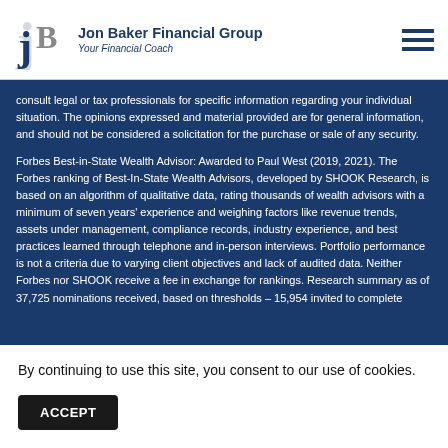Jon Baker Financial Group — Your Financial Coach
consult legal or tax professionals for specific information regarding your individual situation. The opinions expressed and material provided are for general information, and should not be considered a solicitation for the purchase or sale of any security.
Forbes Best-in-State Wealth Advisor: Awarded to Paul West (2019, 2021). The Forbes ranking of Best-In-State Wealth Advisors, developed by SHOOK Research, is based on an algorithm of qualitative data, rating thousands of wealth advisors with a minimum of seven years' experience and weighing factors like revenue trends, assets under management, compliance records, industry experience, and best practices learned through telephone and in-person interviews. Portfolio performance is not a criteria due to varying client objectives and lack of audited data. Neither Forbes nor SHOOK receive a fee in exchange for rankings. Research summary as of 37,725 nominations received, based on thresholds – 15,954 invited to complete on... Advisor... r aw... t be...
By continuing to use this site, you consent to our use of cookies.